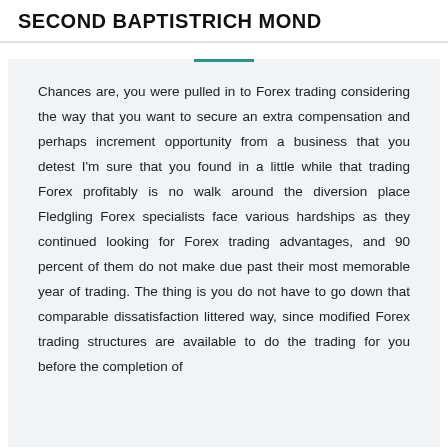SECOND BAPTISTRICH MOND
Chances are, you were pulled in to Forex trading considering the way that you want to secure an extra compensation and perhaps increment opportunity from a business that you detest I'm sure that you found in a little while that trading Forex profitably is no walk around the diversion place Fledgling Forex specialists face various hardships as they continued looking for Forex trading advantages, and 90 percent of them do not make due past their most memorable year of trading. The thing is you do not have to go down that comparable dissatisfaction littered way, since modified Forex trading structures are available to do the trading for you before the completion of